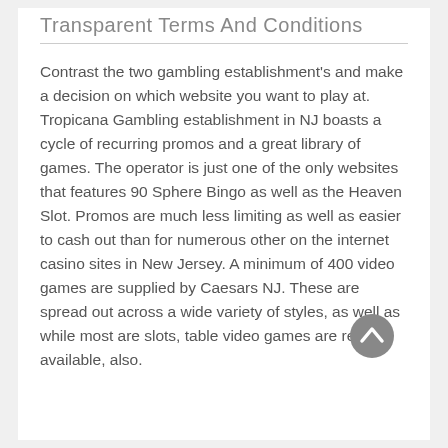Transparent Terms And Conditions
Contrast the two gambling establishment’s and make a decision on which website you want to play at. Tropicana Gambling establishment in NJ boasts a cycle of recurring promos and a great library of games. The operator is just one of the only websites that features 90 Sphere Bingo as well as the Heaven Slot. Promos are much less limiting as well as easier to cash out than for numerous other on the internet casino sites in New Jersey. A minimum of 400 video games are supplied by Caesars NJ. These are spread out across a wide variety of styles, as well as while most are slots, table video games are readily available, also.